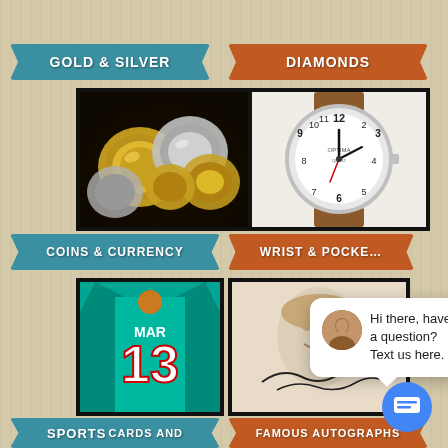[Figure (infographic): Mobile app screenshot showing auction/pawn shop category grid. Top section shows GOLD & SILVER banner (teal) with coins photo, DIAMONDS banner (orange) with watch photo. Middle shows COINS & CURRENCY banner (teal) and WRIST & POCKET banner (orange, partially obscured). Bottom left shows sports jersey with number 13 (MARI). Bottom right shows autograph image. A chat popup reads 'Hi there, have a question? Text us here.' with close button. Blue chat icon bottom right. Bottom banners: SPORTS CARDS AND, FAMOUS AUTOGRAPHS.]